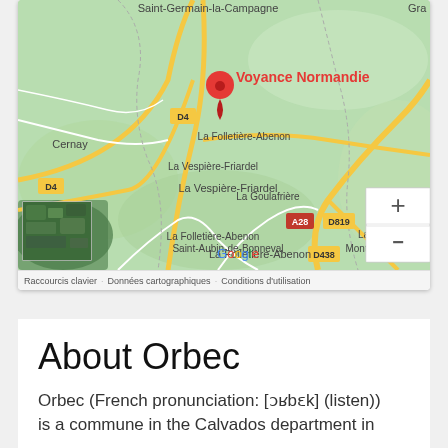[Figure (map): Google Maps screenshot showing the Orbec area in Normandie, France. A red location pin labeled 'Voyance Normandie' is visible near the top center. Road labels include D4, A28, D819, D438. Place names include Saint-Germain-la-Campagne, Cernay, La Vespière-Friardel, La Folletière-Abenon, La Goulafrière, Saint-Aubin-de-Bonneval, Montreuil, La Trinité-de-Réville. A satellite view thumbnail is shown in the bottom-left corner. Zoom controls (+/-) are on the right side.]
Raccourcis clavier · Données cartographiques · Conditions d'utilisation
About Orbec
Orbec (French pronunciation: [ɔʁbɛk] (listen)) is a commune in the Calvados department in